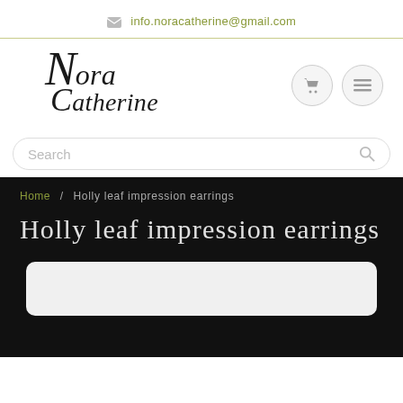info.noracatherine@gmail.com
[Figure (logo): Nora Catherine handwritten/script logo in black serif/italic font]
Search
Home / Holly leaf impression earrings
Holly leaf impression earrings